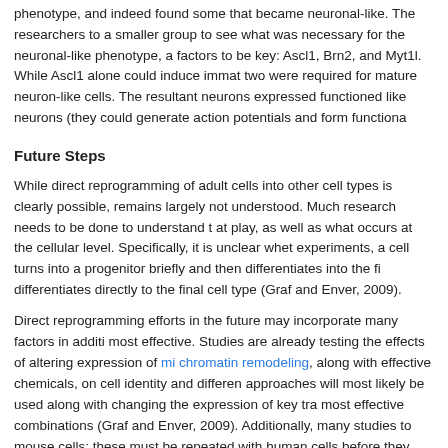phenotype, and indeed found some that became neuronal-like. The researchers to a smaller group to see what was necessary for the neuronal-like phenotype, a factors to be key: Ascl1, Brn2, and Myt1l. While Ascl1 alone could induce immat two were required for mature neuron-like cells. The resultant neurons expressed functioned like neurons (they could generate action potentials and form functiona
Future Steps
While direct reprogramming of adult cells into other cell types is clearly possible, remains largely not understood. Much research needs to be done to understand t at play, as well as what occurs at the cellular level. Specifically, it is unclear whet experiments, a cell turns into a progenitor briefly and then differentiates into the fi differentiates directly to the final cell type (Graf and Enver, 2009).
Direct reprogramming efforts in the future may incorporate many factors in additi most effective. Studies are already testing the effects of altering expression of mi chromatin remodeling, along with effective chemicals, on cell identity and differen approaches will most likely be used along with changing the expression of key tra most effective combinations (Graf and Enver, 2009). Additionally, many studies to mouse cells; these must be repeated with human cells before they can be used c resultant cells will be important not only for creating patient-specific cells for cellu medicine, but also for studying cell differentiation, plasticity during development, a occur during diseases such as cancer.
References